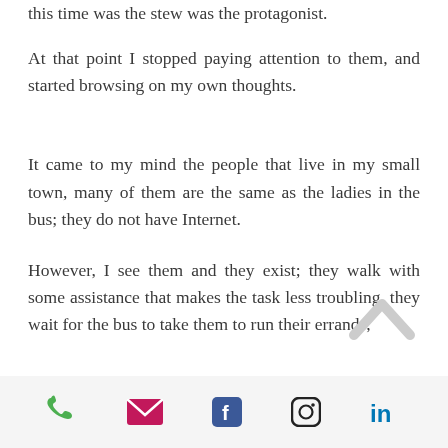this time was the stew was the protagonist.
At that point I stopped paying attention to them, and started browsing on my own thoughts.
It came to my mind the people that live in my small town, many of them are the same as the ladies in the bus; they do not have Internet.
However, I see them and they exist; they walk with some assistance that makes the task less troubling, they wait for the bus to take them to run their errands,
[Figure (other): A light gray chevron/up-arrow icon for scrolling up]
Phone, Email, Facebook, Instagram, LinkedIn social icons footer bar